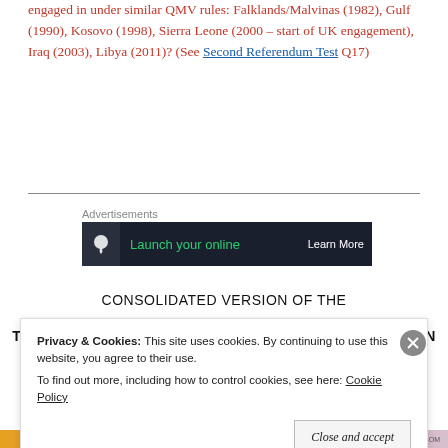engaged in under similar QMV rules: Falklands/Malvinas (1982), Gulf (1990), Kosovo (1998), Sierra Leone (2000 – start of UK engagement), Iraq (2003), Libya (2011)? (See Second Referendum Test Q17)
Advertisements
[Figure (screenshot): Advertisement banner with dark background showing 'Launch your online' text in green and 'Learn More' button]
CONSOLIDATED VERSION OF THE
TREATY ON THE FUNCTIONING OF THE EUROPEAN UNION
Privacy & Cookies: This site uses cookies. By continuing to use this website, you agree to their use. To find out more, including how to control cookies, see here: Cookie Policy